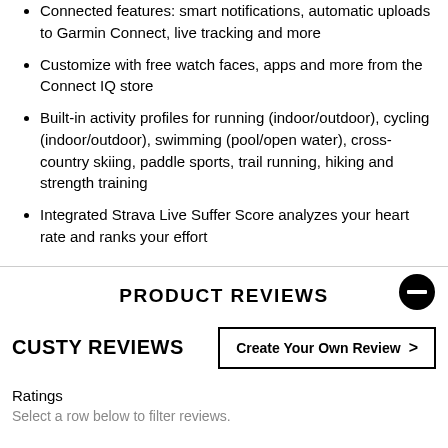Connected features: smart notifications, automatic uploads to Garmin Connect, live tracking and more
Customize with free watch faces, apps and more from the Connect IQ store
Built-in activity profiles for running (indoor/outdoor), cycling (indoor/outdoor), swimming (pool/open water), cross-country skiing, paddle sports, trail running, hiking and strength training
Integrated Strava Live Suffer Score analyzes your heart rate and ranks your effort
PRODUCT REVIEWS
CUSTY REVIEWS
Ratings
Select a row below to filter reviews.